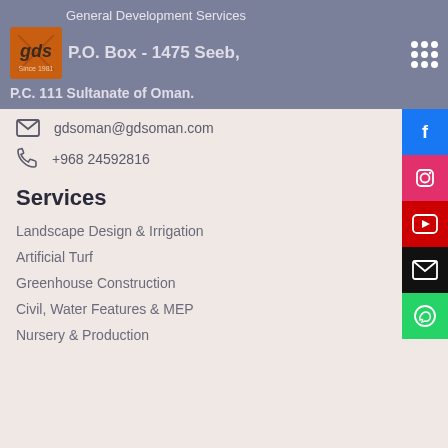General Development Services
P.O. Box - 1475 Seeb,
P.C. 111 Sultanate of Oman.
gdsoman@gdsoman.com
+968 24592816
Services
Landscape Design & Irrigation
Artificial Turf
Greenhouse Construction
Civil, Water Features & MEP
Nursery & Production